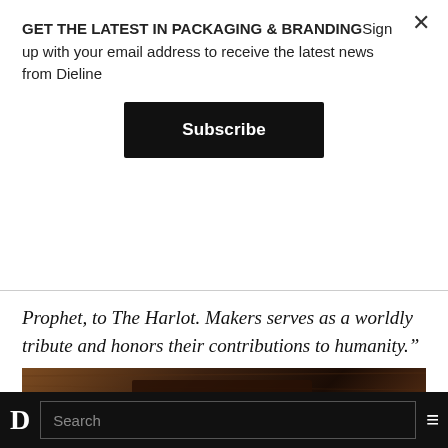GET THE LATEST IN PACKAGING & BRANDINGSign up with your email address to receive the latest news from Dieline
Subscribe
Prophet, to The Harlot. Makers serves as a worldly tribute and honors their contributions to humanity.”
[Figure (photo): Dark, moody close-up photo of a wooden surface with a dark reddish-brown embossed package reading MAKERS]
D  Search  ≡